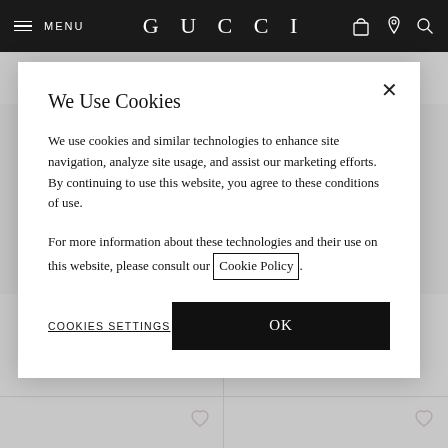MENU | GUCCI
[Figure (screenshot): Gucci e-commerce product grid showing Gucci Blondie shoulder bags at C$ 4,660 each, with dark navy and light beige color variants, on a light grey background.]
We Use Cookies
We use cookies and similar technologies to enhance site navigation, analyze site usage, and assist our marketing efforts. By continuing to use this website, you agree to these conditions of use.
For more information about these technologies and their use on this website, please consult our Cookie Policy.
COOKIES SETTINGS
OK